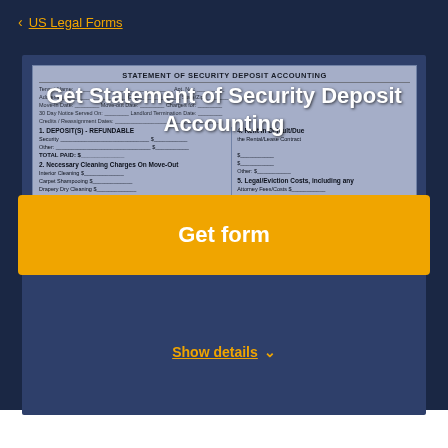< US Legal Forms
Get Statement of Security Deposit Accounting
[Figure (screenshot): Background screenshot of a legal form titled 'Statement of Security Deposit Accounting' showing fields for tenant name, address, deposits, cleaning charges, and total charges, partially visible behind the overlay]
Get form
Show details